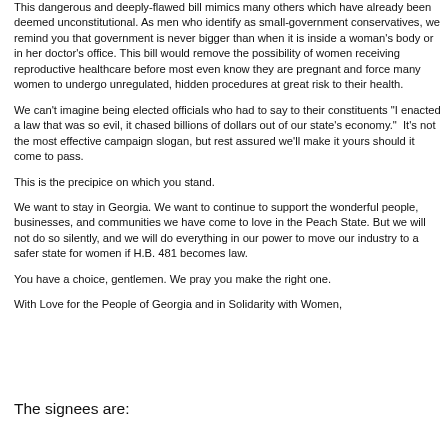This dangerous and deeply-flawed bill mimics many others which have already been deemed unconstitutional. As men who identify as small-government conservatives, we remind you that government is never bigger than when it is inside a woman's body or in her doctor's office. This bill would remove the possibility of women receiving reproductive healthcare before most even know they are pregnant and force many women to undergo unregulated, hidden procedures at great risk to their health.
We can't imagine being elected officials who had to say to their constituents "I enacted a law that was so evil, it chased billions of dollars out of our state's economy."  It's not the most effective campaign slogan, but rest assured we'll make it yours should it come to pass.
This is the precipice on which you stand.
We want to stay in Georgia. We want to continue to support the wonderful people, businesses, and communities we have come to love in the Peach State. But we will not do so silently, and we will do everything in our power to move our industry to a safer state for women if H.B. 481 becomes law.
You have a choice, gentlemen. We pray you make the right one.
With Love for the People of Georgia and in Solidarity with Women,
The signees are: